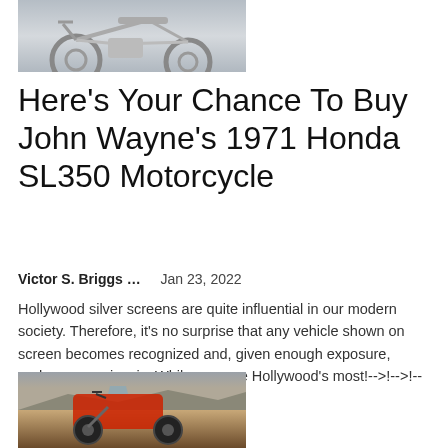[Figure (photo): Partial view of a vintage motorcycle, likely white/silver, parked on a light surface]
Here’s Your Chance To Buy John Wayne’s 1971 Honda SL350 Motorcycle
Victor S. Briggs …    Jan 23, 2022
Hollywood silver screens are quite influential in our modern society. Therefore, it's no surprise that any vehicle shown on screen becomes recognized and, given enough exposure, perhaps even iconic. While cars are Hollywood's most!-->!-->!-->...
[Figure (photo): Red and black adventure motorcycle parked in a desert/arid landscape with hills in the background]